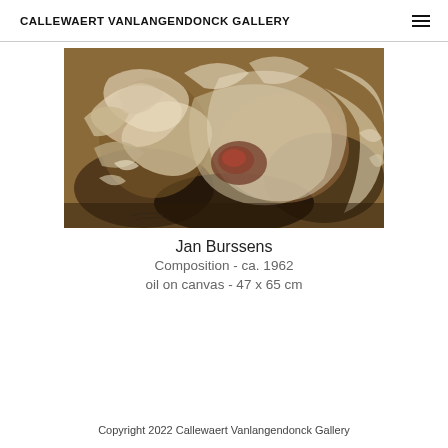CALLEWAERT VANLANGENDONCK GALLERY
[Figure (illustration): Abstract oil painting with swirling organic forms in earthy tones of brown, beige, cream, and dark red/black. The composition features heavily textured brushwork suggesting plant or floral forms in an expressionist style.]
Jan Burssens
Composition - ca. 1962
oil on canvas - 47 x 65 cm
Copyright 2022 Callewaert Vanlangendonck Gallery